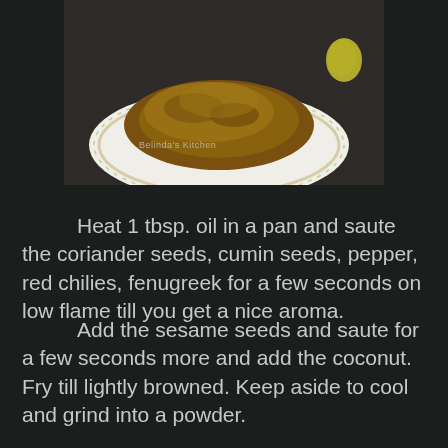[Figure (photo): A photo of a spiced dish (looks like a dry curry or chutney powder preparation) served on a white plate with floral border, placed on a dark background. Watermark reads 'Belinda's Kitchen'.]
Heat 1 tbsp. oil in a pan and saute the coriander seeds, cumin seeds, pepper, red chilies, fenugreek for a few seconds on low flame till you get a nice aroma.
Add the sesame seeds and saute for a few seconds more and add the coconut. Fry till lightly browned. Keep aside to cool and grind into a powder.